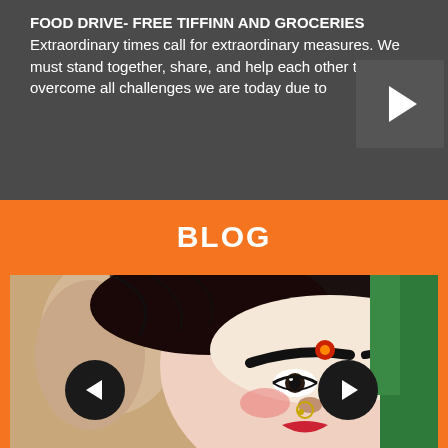FOOD DRIVE- FREE TIFFINN AND GROCERIES Extraordinary times call for extraordinary measures. We must stand together, share, and help each other to overcome all challenges we are today due to
[Figure (other): Video play button thumbnail area with dark grey background]
BLOG
[Figure (photo): Close-up photograph of a Hindu goddess idol (Durga), with someone applying makeup/paint to it. The idol has elaborate facial features, red bindi, nose ring, and colorful decorations.]